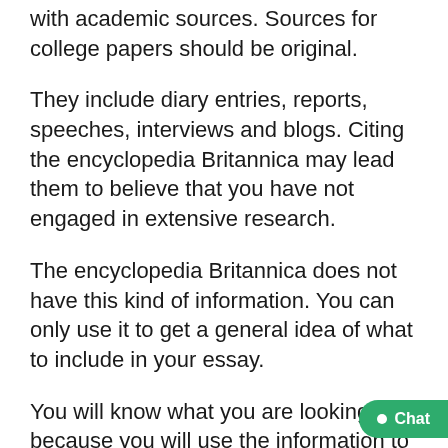with academic sources. Sources for college papers should be original.
They include diary entries, reports, speeches, interviews and blogs. Citing the encyclopedia Britannica may lead them to believe that you have not engaged in extensive research.
The encyclopedia Britannica does not have this kind of information. You can only use it to get a general idea of what to include in your essay.
You will know what you are looking for because you will use the information to search for more reliable sources that are cited.